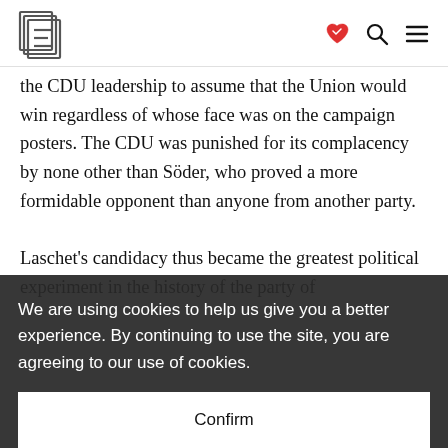[Logo] [heart icon] [search icon] [menu icon]
the CDU leadership to assume that the Union would win regardless of whose face was on the campaign posters. The CDU was punished for its complacency by none other than Söder, who proved a more formidable opponent than anyone from another party.
Laschet's candidacy thus became the greatest political experiment in the history of the party of Angela Merkel onto himself or her natural party chairman. During the pandemic, Merkel's
We are using cookies to help us give you a better experience. By continuing to use the site, you are agreeing to our use of cookies.
Confirm